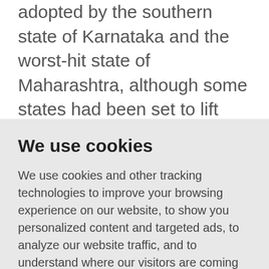adopted by the southern state of Karnataka and the worst-hit state of Maharashtra, although some states had been set to lift curbs this week.

The uneven curbs, complicated by local elections and mass gatherings such as the months-long Kumbh Mela, or pitcher festival, which is also known to cause
We use cookies
We use cookies and other tracking technologies to improve your browsing experience on our website, to show you personalized content and targeted ads, to analyze our website traffic, and to understand where our visitors are coming from.